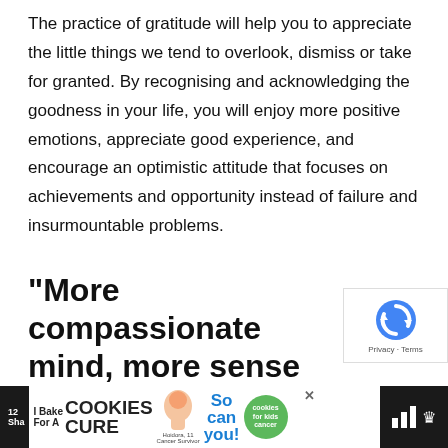The practice of gratitude will help you to appreciate the little things we tend to overlook, dismiss or take for granted. By recognising and acknowledging the goodness in your life, you will enjoy more positive emotions, appreciate good experience, and encourage an optimistic attitude that focuses on achievements and opportunity instead of failure and insurmountable problems.
“More compassionate mind, more sense of concern for other’s well-being, is source of happiness.” –
[Figure (other): reCAPTCHA overlay widget with blue circular arrow logo and Privacy - Terms text]
[Figure (other): Advertisement banner: I Bake COOKIES For A CURE with girl image and So can you! cookies for kids cancer badge]